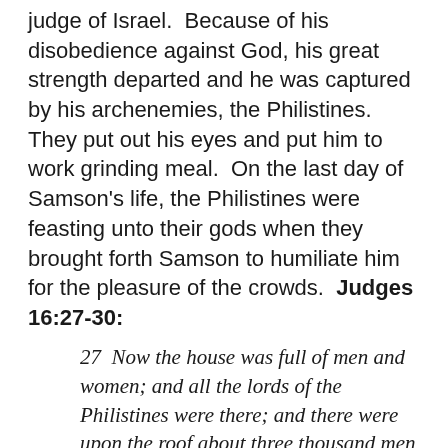judge of Israel.  Because of his disobedience against God, his great strength departed and he was captured by his archenemies, the Philistines.  They put out his eyes and put him to work grinding meal.  On the last day of Samson's life, the Philistines were feasting unto their gods when they brought forth Samson to humiliate him for the pleasure of the crowds.  Judges 16:27-30:
27  Now the house was full of men and women; and all the lords of the Philistines were there; and there were upon the roof about three thousand men and women, that beheld while Samson made sport.
28  And Samson called unto the LORD, and